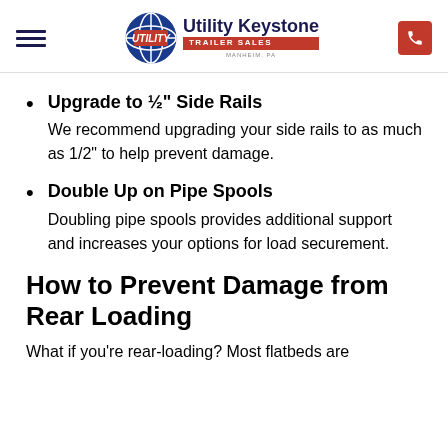Utility Keystone Trailer Sales - Manheim, PA
Upgrade to ½" Side Rails
We recommend upgrading your side rails to as much as 1/2" to help prevent damage.
Double Up on Pipe Spools
Doubling pipe spools provides additional support and increases your options for load securement.
How to Prevent Damage from Rear Loading
What if you're rear-loading? Most flatbeds are